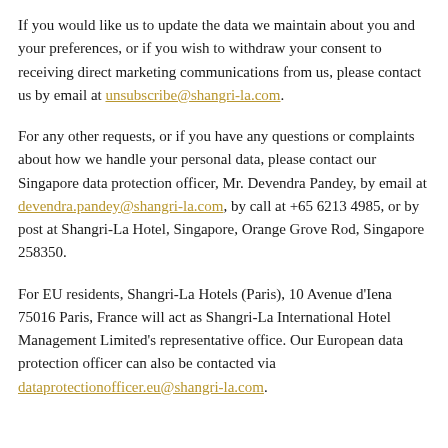If you would like us to update the data we maintain about you and your preferences, or if you wish to withdraw your consent to receiving direct marketing communications from us, please contact us by email at unsubscribe@shangri-la.com.
For any other requests, or if you have any questions or complaints about how we handle your personal data, please contact our Singapore data protection officer, Mr. Devendra Pandey, by email at devendra.pandey@shangri-la.com, by call at +65 6213 4985, or by post at Shangri-La Hotel, Singapore, Orange Grove Rod, Singapore 258350.
For EU residents, Shangri-La Hotels (Paris), 10 Avenue d'Iena 75016 Paris, France will act as Shangri-La International Hotel Management Limited's representative office. Our European data protection officer can also be contacted via dataprotectionofficer.eu@shangri-la.com.